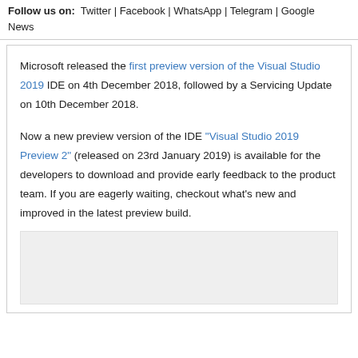Follow us on: Twitter | Facebook | WhatsApp | Telegram | Google News
Microsoft released the first preview version of the Visual Studio 2019 IDE on 4th December 2018, followed by a Servicing Update on 10th December 2018.
Now a new preview version of the IDE "Visual Studio 2019 Preview 2" (released on 23rd January 2019) is available for the developers to download and provide early feedback to the product team. If you are eagerly waiting, checkout what's new and improved in the latest preview build.
[Figure (other): Image placeholder area, light gray background]